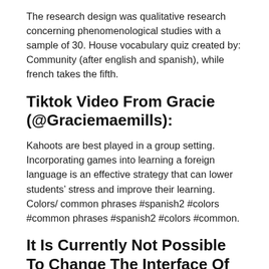The research design was qualitative research concerning phenomenological studies with a sample of 30. House vocabulary quiz created by: Community (after english and spanish), while french takes the fifth.
Tiktok Video From Gracie (@Graciemaemills):
Kahoots are best played in a group setting. Incorporating games into learning a foreign language is an effective strategy that can lower students’ stress and improve their learning. Colors/ common phrases #spanish2 #colors #common phrases #spanish2 #colors #common.
It Is Currently Not Possible To Change The Interface Of The Kahoot Creator To Rtl On The Web Platform.
Join a game of kahoot here. Quizzes bring your language